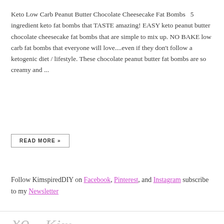Keto Low Carb Peanut Butter Chocolate Cheesecake Fat Bombs   5 ingredient keto fat bombs that TASTE amazing! EASY keto peanut butter chocolate cheesecake fat bombs that are simple to mix up. NO BAKE low carb fat bombs that everyone will love....even if they don't follow a ketogenic diet / lifestyle. These chocolate peanut butter fat bombs are so creamy and ...
READ MORE »
Follow KimspiredDIY on Facebook, Pinterest, and Instagram subscribe to my Newsletter
[Figure (illustration): Cursive handwritten signature reading 'xo, Kim' in light gray]